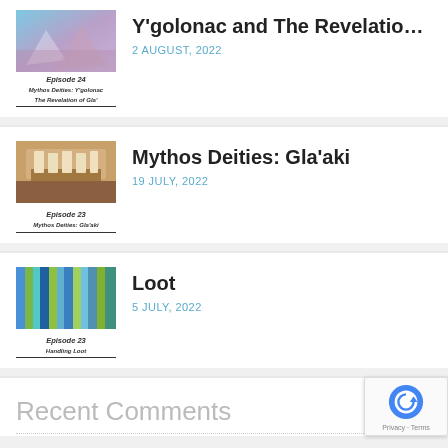[Figure (illustration): Episode 24 podcast cover image with blue sky and pink/purple elements]
Y'golonac and The Revelatio…
2 AUGUST, 2022
[Figure (illustration): Episode 23 Mythos Deities podcast cover image showing teeth/dental imagery]
Mythos Deities: Gla'aki
19 JULY, 2022
[Figure (illustration): Episode 23 Handling Loot podcast cover image showing colorful book spines]
Loot
5 JULY, 2022
Recent Comments